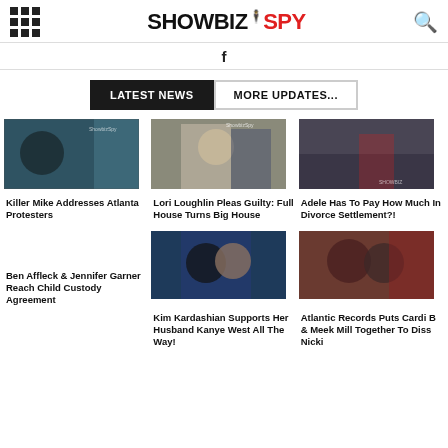SHOWBIZ SPY
f
LATEST NEWS | MORE UPDATES...
[Figure (photo): Killer Mike speaking, man in black sweatshirt with chain in front of teal background]
Killer Mike Addresses Atlanta Protesters
[Figure (photo): Lori Loughlin with man in suit outdoors]
Lori Loughlin Pleas Guilty: Full House Turns Big House
[Figure (photo): Adele in hooded outfit near a car, paparazzi style photo]
Adele Has To Pay How Much In Divorce Settlement?!
Ben Affleck & Jennifer Garner Reach Child Custody Agreement
[Figure (photo): Kim Kardashian with Kanye West, smiling couple photo]
Kim Kardashian Supports Her Husband Kanye West All The Way!
[Figure (photo): Cardi B and Meek Mill together]
Atlantic Records Puts Cardi B & Meek Mill Together To Diss Nicki